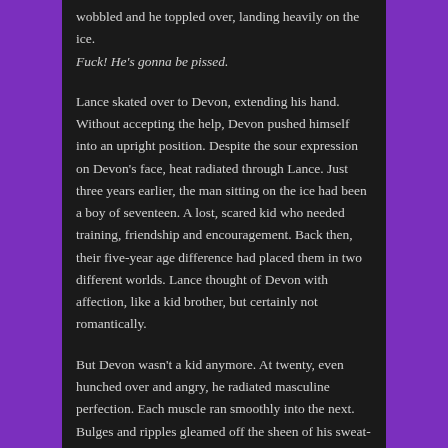wobbled and he toppled over, landing heavily on the ice. Fuck! He's gonna be pissed.
Lance skated over to Devon, extending his hand. Without accepting the help, Devon pushed himself into an upright position. Despite the sour expression on Devon's face, heat radiated through Lance. Just three years earlier, the man sitting on the ice had been a boy of seventeen. A lost, scared kid who needed training, friendship and encouragement. Back then, their five-year age difference had placed them in two different worlds. Lance thought of Devon with affection, like a kid brother, but certainly not romantically.
But Devon wasn't a kid anymore. At twenty, even hunched over and angry, he radiated masculine perfection. Each muscle ran smoothly into the next. Bulges and ripples gleamed off the sheen of his sweat-covered skin. The way his broad shoulders tapered into a narrow waist drew Lance's eyes like a magnet. He had to forcibly break his gaze when it scanned over that rounded ass only to rest on a generous swell pressing at the front of Devon's